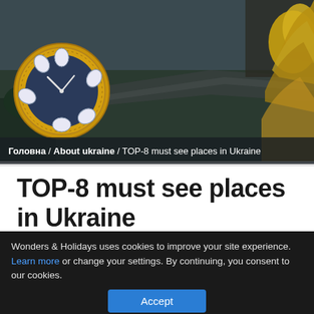[Figure (photo): Aerial view of a Ukrainian landmark/city scene with a large ornate clock in the left foreground and a golden statue on the right, dark aerial cityscape in the background showing bridges and buildings.]
Головна / About ukraine / TOP-8 must see places in Ukraine
TOP-8 must see places in Ukraine
Chernobyl
Wonders & Holidays uses cookies to improve your site experience. Learn more or change your settings. By continuing, you consent to our cookies.
Accept